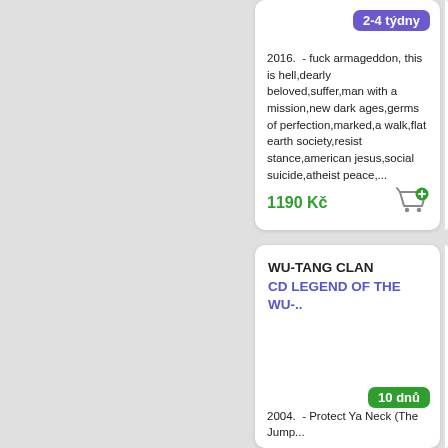2-4 týdny
2016.  - fuck armageddon, this is hell,dearly beloved,suffer,man with a mission,new dark ages,germs of perfection,marked,a walk,flat earth society,resist stance,american jesus,social suicide,atheist peace,...
1190 Kč
WU-TANG CLAN
CD LEGEND OF THE WU-..
10 dnů
2004.  - Protect Ya Neck (The Jump...